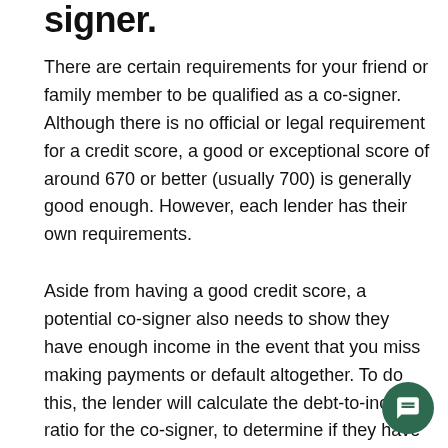signer.
There are certain requirements for your friend or family member to be qualified as a co-signer. Although there is no official or legal requirement for a credit score, a good or exceptional score of around 670 or better (usually 700) is generally good enough. However, each lender has their own requirements.
Aside from having a good credit score, a potential co-signer also needs to show they have enough income in the event that you miss making payments or default altogether. To do this, the lender will calculate the debt-to-income ratio for the co-signer, to determine if they have enough income to